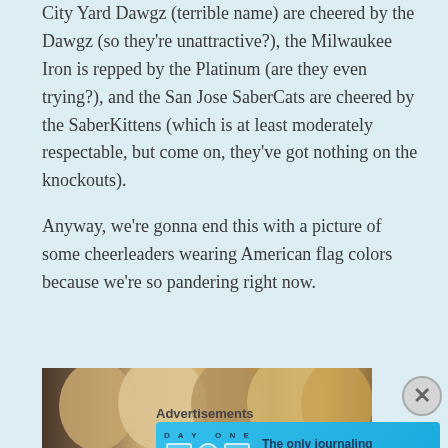City Yard Dawgz (terrible name) are cheered by the Dawgz (so they're unattractive?), the Milwaukee Iron is repped by the Platinum (are they even trying?), and the San Jose SaberCats are cheered by the SaberKittens (which is at least moderately respectable, but come on, they've got nothing on the knockouts).
Anyway, we're gonna end this with a picture of some cheerleaders wearing American flag colors because we're so pandering right now.
[Figure (photo): A row of cheerleaders with blonde and brunette hair photographed from the side, wearing cheerleader outfits, in a stadium setting.]
Advertisements
[Figure (other): Day One journaling app advertisement banner on a blue background with icons and text: 'The only journaling app you'll ever need.']